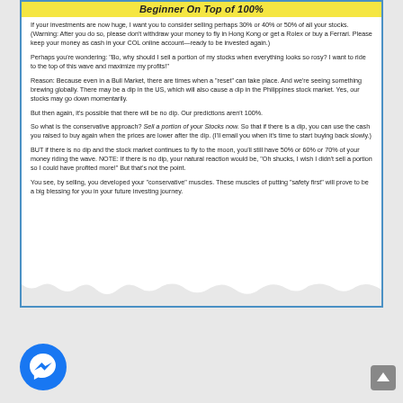Beginner On Top of 100%
If your investments are now huge, I want you to consider selling perhaps 30% or 40% or 50% of all your stocks. (Warning: After you do so, please don't withdraw your money to fly in Hong Kong or get a Rolex or buy a Ferrari. Please keep your money as cash in your COL online account—ready to be invested again.)
Perhaps you're wondering: "Bo, why should I sell a portion of my stocks when everything looks so rosy? I want to ride to the top of this wave and maximize my profits!"
Reason: Because even in a Bull Market, there are times when a "reset" can take place. And we're seeing something brewing globally. There may be a dip in the US, which will also cause a dip in the Philippines stock market. Yes, our stocks may go down momentarily.
But then again, it's possible that there will be no dip. Our predictions aren't 100%.
So what is the conservative approach? Sell a portion of your Stocks now. So that if there is a dip, you can use the cash you raised to buy again when the prices are lower after the dip. (I'll email you when it's time to start buying back slowly.)
BUT if there is no dip and the stock market continues to fly to the moon, you'll still have 50% or 60% or 70% of your money riding the wave. NOTE: If there is no dip, your natural reaction would be, "Oh shucks, I wish I didn't sell a portion so I could have profited more!" But that's not the point.
You see, by selling, you developed your "conservative" muscles. These muscles of putting "safety first" will prove to be a big blessing for you in your future investing journey.
[Figure (illustration): Messenger chat icon (blue circle with white lightning bolt chat symbol)]
[Figure (illustration): Gray scroll-to-top button with upward arrow]